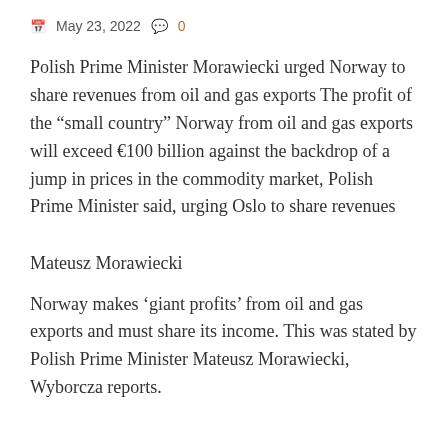May 23, 2022  0
Polish Prime Minister Morawiecki urged Norway to share revenues from oil and gas exports The profit of the “small country” Norway from oil and gas exports will exceed €100 billion against the backdrop of a jump in prices in the commodity market, Polish Prime Minister said, urging Oslo to share revenues
Mateusz Morawiecki
Norway makes 'giant profits' from oil and gas exports and must share its income. This was stated by Polish Prime Minister Mateusz Morawiecki, Wyborcza reports.